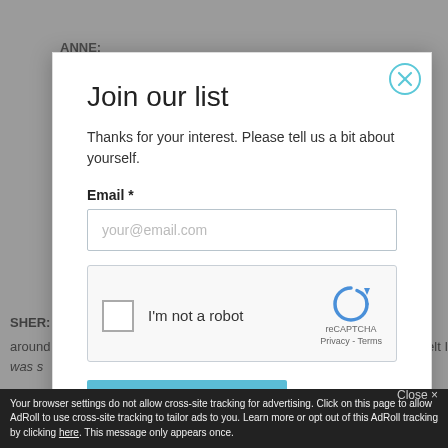ANNE:
SHER:
around
was s
Join our list
Thanks for your interest. Please tell us a bit about yourself.
Email *
your@email.com
[Figure (other): reCAPTCHA widget with checkbox labeled I'm not a robot and reCAPTCHA logo]
Sign me up
Your browser settings do not allow cross-site tracking for advertising. Click on this page to allow AdRoll to use cross-site tracking to tailor ads to you. Learn more or opt out of this AdRoll tracking by clicking here. This message only appears once.
Close ×